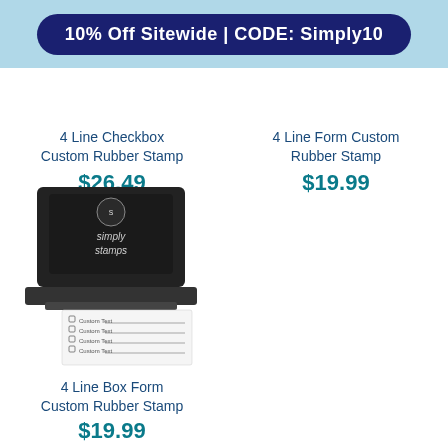10% Off Sitewide | CODE: Simply10
[Figure (photo): Partial top view of two rubber stamp products]
4 Line Checkbox Custom Rubber Stamp
$26.49
4 Line Form Custom Rubber Stamp
$19.99
[Figure (photo): 4 Line Box Form Custom Rubber Stamp product photo showing a black self-inking stamp with simply stamps branding and a sample stamp impression showing checkbox form lines]
4 Line Box Form Custom Rubber Stamp
$19.99